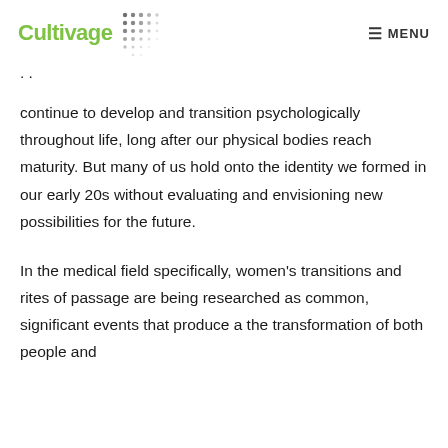Cultivage MENU
continue to develop and transition psychologically throughout life, long after our physical bodies reach maturity. But many of us hold onto the identity we formed in our early 20s without evaluating and envisioning new possibilities for the future.
In the medical field specifically, women's transitions and rites of passage are being researched as common, significant events that produce a the transformation of both people and